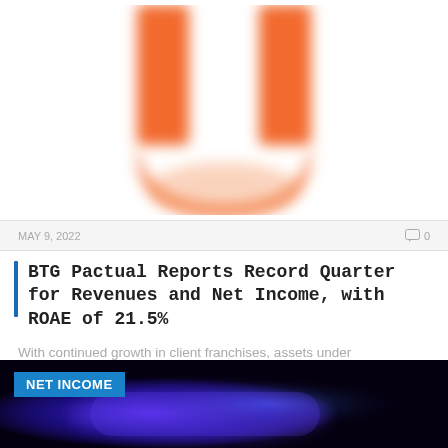[Figure (logo): Orange U-shaped logo on white background]
MAY 9, 2022   0
BTG Pactual Reports Record Quarter for Revenues and Net Income, with ROAE of 21.5%
With continued growth in client franchises, assets under management reached R$1.04 trillion, up 36% year-on-yearSAO...
[Figure (photo): NET INCOME banner with dark blue/purple glowing photo background]